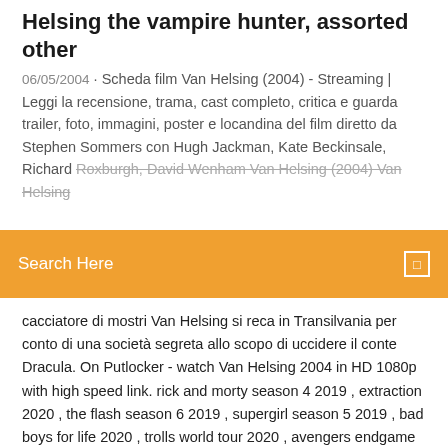Helsing the vampire hunter, assorted other
06/05/2004 · Scheda film Van Helsing (2004) - Streaming | Leggi la recensione, trama, cast completo, critica e guarda trailer, foto, immagini, poster e locandina del film diretto da Stephen Sommers con Hugh Jackman, Kate Beckinsale, Richard Roxburgh, David Wenham. Van Helsing (2004) Van Helsing
[Figure (screenshot): Orange search bar overlay with text 'Search Here' and a small square icon on the right]
cacciatore di mostri Van Helsing si reca in Transilvania per conto di una società segreta allo scopo di uccidere il conte Dracula. On Putlocker - watch Van Helsing 2004 in HD 1080p with high speed link. rick and morty season 4 2019 , extraction 2020 , the flash season 6 2019 , supergirl season 5 2019 , bad boys for life 2020 , trolls world tour 2020 , avengers endgame 2019 , bloodshot 2020 , escape from pretoria 2020 , money heist season 4 2020 , the walking dead season 10 2019 , gretel & hansel 2020 , Van Helsing [HD] (2004) FANTASY / FANTASTICO